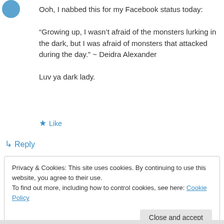Ooh, I nabbed this for my Facebook status today:

“Growing up, I wasn’t afraid of the monsters lurking in the dark, but I was afraid of monsters that attacked during the day.” ~ Deidra Alexander

Luv ya dark lady.
★ Like
↳ Reply
Privacy & Cookies: This site uses cookies. By continuing to use this website, you agree to their use.
To find out more, including how to control cookies, see here: Cookie Policy
Close and accept